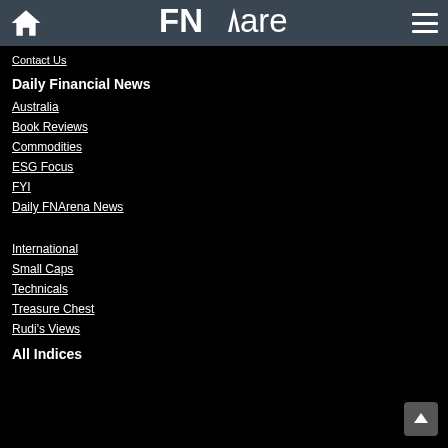FNArena
Contact Us
Daily Financial News
Australia
Book Reviews
Commodities
ESG Focus
FYI
Daily FNArena News
International
Small Caps
Technicals
Treasure Chest
Rudi's Views
All Indices